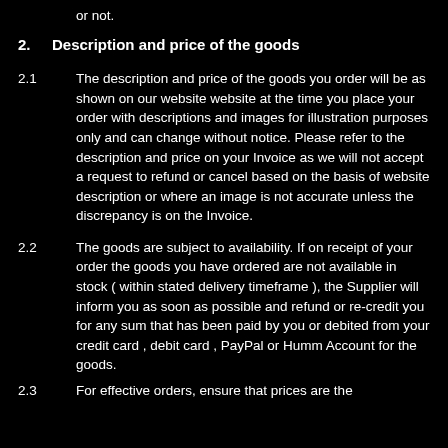or not.
2.   Description and price of the goods
2.1   The description and price of the goods you order will be as shown on our website website at the time you place your order with descriptions and images for illustration purposes only and can change without notice. Please refer to the description and price on your Invoice as we will not accept a request to refund or cancel based on the basis of website description or where an image is not accurate unless the discrepancy is on the Invoice.
2.2   The goods are subject to availability. If on receipt of your order the goods you have ordered are not available in stock ( within stated delivery timeframe ), the Supplier will inform you as soon as possible and refund or re-credit you for any sum that has been paid by you or debited from your credit card , debit card , PayPal or Humm Account for the goods.
2.3   ...